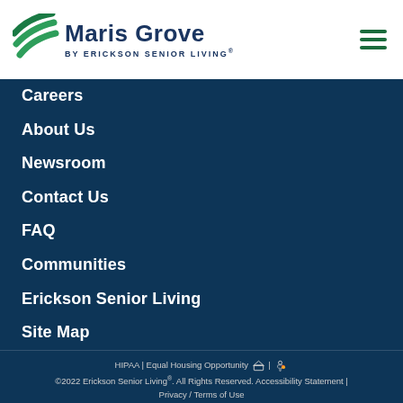Maris Grove BY ERICKSON SENIOR LIVING®
Careers
About Us
Newsroom
Contact Us
FAQ
Communities
Erickson Senior Living
Site Map
HIPAA | Equal Housing Opportunity 🏠 | ♿🎌 ©2022 Erickson Senior Living®. All Rights Reserved. Accessibility Statement | Privacy / Terms of Use